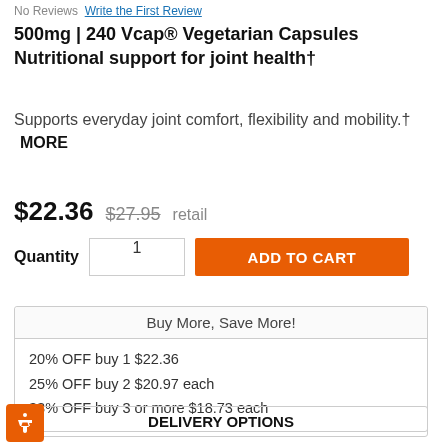No Reviews  Write the First Review
500mg | 240 Vcap® Vegetarian Capsules Nutritional support for joint health†
Supports everyday joint comfort, flexibility and mobility.†   MORE
$22.36  $27.95  retail
Quantity  1  ADD TO CART
| Offer |
| --- |
| Buy More, Save More! |
| 20% OFF buy 1 $22.36 |
| 25% OFF buy 2 $20.97 each |
| 33% OFF buy 3 or more $18.73 each |
DELIVERY OPTIONS